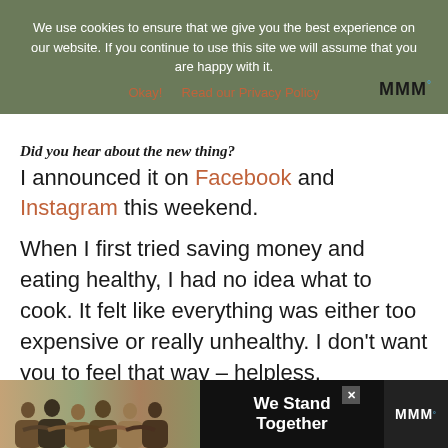We use cookies to ensure that we give you the best experience on our website. If you continue to use this site we will assume that you are happy with it.
Okay!   Read our Privacy Policy
Did you hear about the new thing?
I announced it on Facebook and Instagram this weekend.
When I first tried saving money and eating healthy, I had no idea what to cook. It felt like everything was either too expensive or really unhealthy. I don't want you to feel that way – helpless, overwhelmed, and
[Figure (photo): Advertisement banner showing a group of people with arms around each other viewed from behind, with text 'We Stand Together']